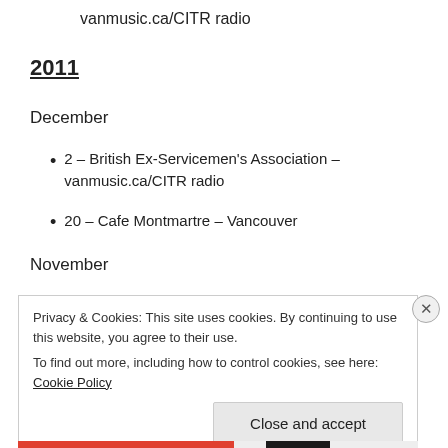vanmusic.ca/CITR radio
2011
December
2 – British Ex-Servicemen's Association – vanmusic.ca/CITR radio
20 – Cafe Montmartre – Vancouver
November
Privacy & Cookies: This site uses cookies. By continuing to use this website, you agree to their use.
To find out more, including how to control cookies, see here: Cookie Policy
Close and accept